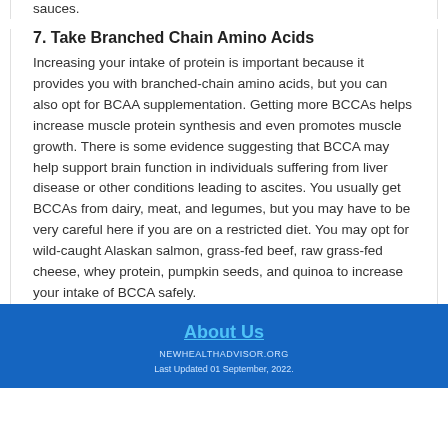sauces.
7. Take Branched Chain Amino Acids
Increasing your intake of protein is important because it provides you with branched-chain amino acids, but you can also opt for BCAA supplementation. Getting more BCCAs helps increase muscle protein synthesis and even promotes muscle growth. There is some evidence suggesting that BCCA may help support brain function in individuals suffering from liver disease or other conditions leading to ascites. You usually get BCCAs from dairy, meat, and legumes, but you may have to be very careful here if you are on a restricted diet. You may opt for wild-caught Alaskan salmon, grass-fed beef, raw grass-fed cheese, whey protein, pumpkin seeds, and quinoa to increase your intake of BCCA safely.
About Us
NEWHEALTHADVISOR.ORG
Last Updated 01 September, 2022.